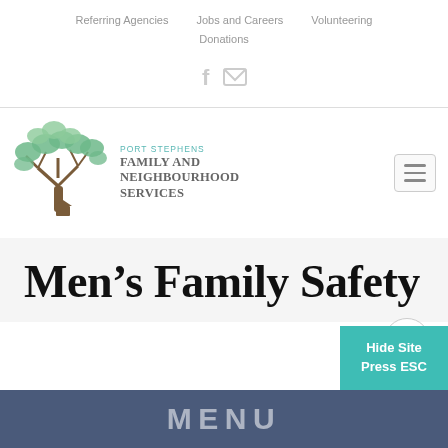Referring Agencies   Jobs and Careers   Volunteering   Donations
[Figure (logo): Facebook and email envelope social media icons in light grey]
[Figure (logo): Port Stephens Family and Neighbourhood Services logo with green tree illustration and teal/grey text]
[Figure (other): Hamburger menu button (three horizontal lines) in a rounded rectangle]
Men’s Family Safety
[Figure (other): Circular scroll-up arrow button]
[Figure (other): Hide Site / Press ESC button in teal]
[Figure (other): Dark navy banner with partial MENU text visible at bottom of page]